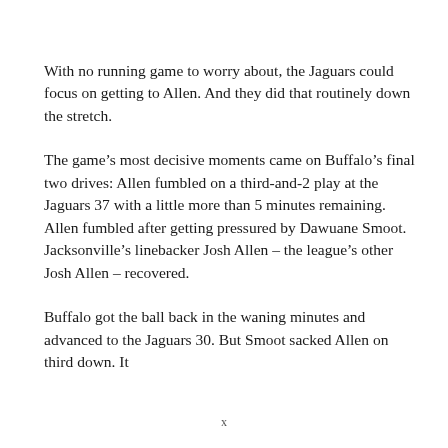With no running game to worry about, the Jaguars could focus on getting to Allen. And they did that routinely down the stretch.
The game’s most decisive moments came on Buffalo’s final two drives: Allen fumbled on a third-and-2 play at the Jaguars 37 with a little more than 5 minutes remaining. Allen fumbled after getting pressured by Dawuane Smoot. Jacksonville’s linebacker Josh Allen – the league’s other Josh Allen – recovered.
Buffalo got the ball back in the waning minutes and advanced to the Jaguars 30. But Smoot sacked Allen on third down. It
x